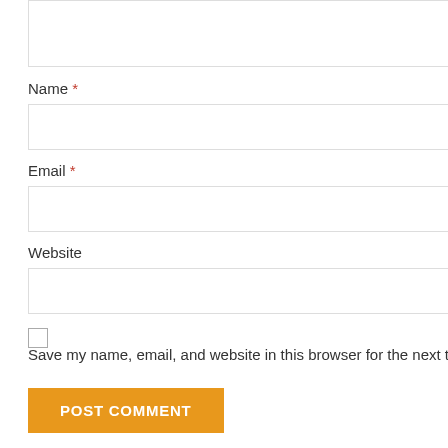[Figure (screenshot): Textarea input box at top of form, partially visible]
Name *
[Figure (screenshot): Name input field (text box)]
Email *
[Figure (screenshot): Email input field (text box)]
Website
[Figure (screenshot): Website input field (text box)]
Save my name, email, and website in this browser for the next time I com
POST COMMENT